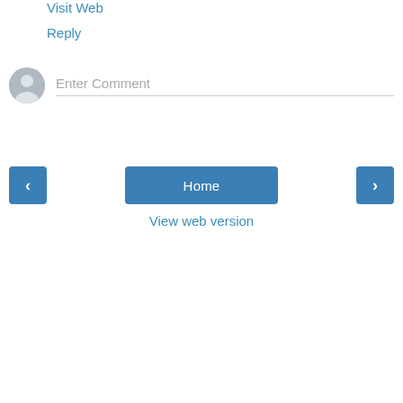Visit Web
Reply
[Figure (screenshot): User avatar icon (gray circle with silhouette) next to an 'Enter Comment' placeholder text input field with a bottom border]
[Figure (screenshot): Navigation row with left arrow button, Home button, and right arrow button, all in blue]
View web version